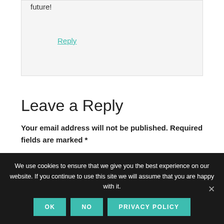future!
Reply
Leave a Reply
Your email address will not be published. Required fields are marked *
We use cookies to ensure that we give you the best experience on our website. If you continue to use this site we will assume that you are happy with it.
OK  NO  PRIVACY POLICY